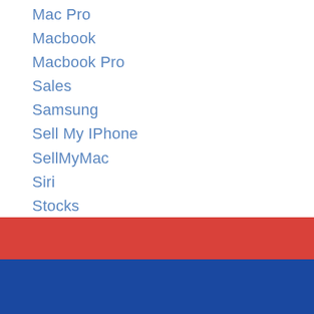Mac Pro
Macbook
Macbook Pro
Sales
Samsung
Sell My IPhone
SellMyMac
Siri
Stocks
Thunderbolt Display
[Figure (illustration): Red horizontal band followed by a blue horizontal band at the bottom of the page]